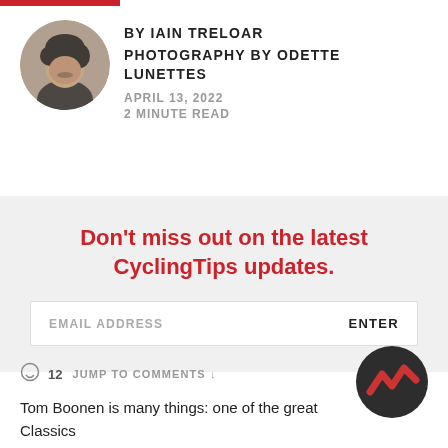BY IAIN TRELOAR
PHOTOGRAPHY BY ODETTE LUNETTES
APRIL 13, 2022
2 MINUTE READ
[Figure (photo): Circular author headshot photo of a young man with dark hair wearing a dark jacket]
Don't miss out on the latest CyclingTips updates.
EMAIL ADDRESS    ENTER
12   JUMP TO COMMENTS ↓
[Figure (logo): CyclingTips logo: dark circle with a red zigzag/chevron mountain shape]
Tom Boonen is many things: one of the great Classics